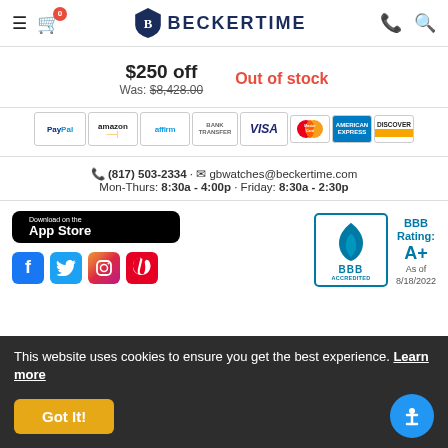BECKERTIME — navigation header with cart (0), phone, and search icons
$250 off — Was: $8,428.00 — Out of stock
[Figure (other): Payment method icons: PayPal, amazon, affirm, BANK TRANSFER, VISA, MasterCard, AMERICAN EXPRESS, DISCOVER]
(817) 503-2334 · gbwatches@beckertime.com
Mon-Thurs: 8:30a - 4:00p · Friday: 8:30a - 2:30p
[Figure (other): Download on the App Store button (black)]
[Figure (other): Social media icons: Facebook, Twitter, Instagram, Pinterest]
[Figure (other): BBB Accredited logo with BBB Rating: A+ As of 8/18/2022]
This website uses cookies to ensure you get the best experience. Learn more
Got It!